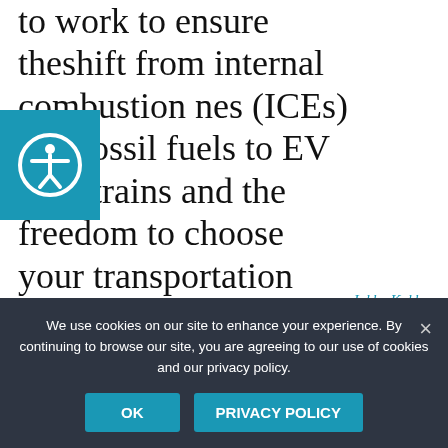to work to ensure theshift from internal combustion nes (ICEs) and fossil fuels to EV drivetrains and the freedom to choose your transportation energy continues. But at least now we can focus
Jukka Kukkonen, Fresh Energy's clean transportation consultant and founder and chief EV educator at Shift2Electric.
We use cookies on our site to enhance your experience. By continuing to browse our site, you are agreeing to our use of cookies and our privacy policy.